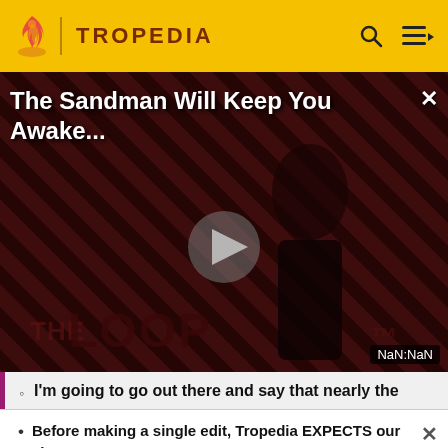TROPEDIA
[Figure (screenshot): Tropedia video player showing 'The Sandman Will Keep You Awake...' with a dark figure on a striped red and black background, play button in center, 'THE LOOP' text at bottom, NaN:NaN timestamp]
I'm going to go out there and say that nearly the
Before making a single edit, Tropedia EXPECTS our site policy and manual of style to be followed. Failure to do so may
READ MORE